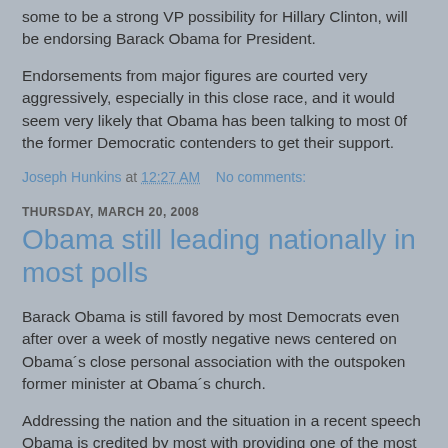some to be a strong VP possibility for Hillary Clinton, will be endorsing Barack Obama for President.
Endorsements from major figures are courted very aggressively, especially in this close race, and it would seem very likely that Obama has been talking to most 0f the former Democratic contenders to get their support.
Joseph Hunkins at 12:27 AM   No comments:
THURSDAY, MARCH 20, 2008
Obama still leading nationally in most polls
Barack Obama is still favored by most Democrats even after over a week of mostly negative news centered on Obama´s close personal association with the outspoken former minister at Obama´s church.
Addressing the nation and the situation in a recent speech Obama is credited by most with providing one of the most